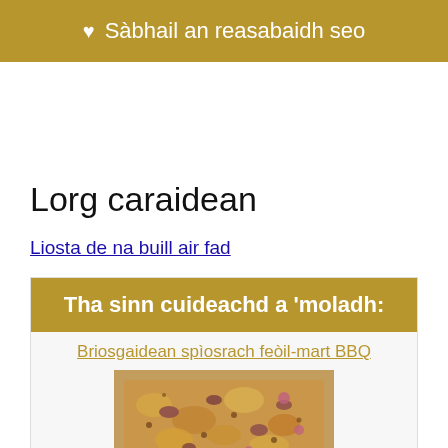♥ Sàbhail an reasabaidh seo
Lorg caraidean
Liosta de na buill air fad
Tha sinn cuideachd a 'moladh:
Briosgaidean spìosrach feòil-mart BBQ
[Figure (photo): Photo of spiced BBQ meat biscuits/crackers with coarse seasoning on top]